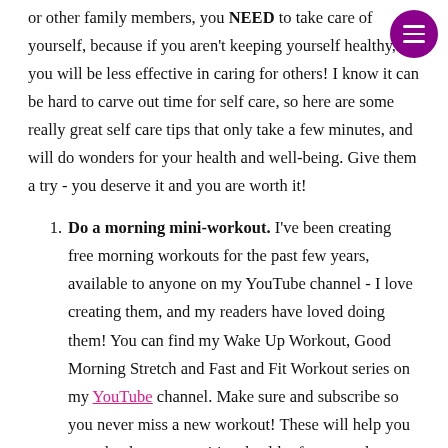or other family members, you NEED to take care of yourself, because if you aren't keeping yourself healthy, you will be less effective in caring for others! I know it can be hard to carve out time for self care, so here are some really great self care tips that only take a few minutes, and will do wonders for your health and well-being. Give them a try - you deserve it and you are worth it!
Do a morning mini-workout. I've been creating free morning workouts for the past few years, available to anyone on my YouTube channel - I love creating them, and my readers have loved doing them! You can find my Wake Up Workout, Good Morning Stretch and Fast and Fit Workout series on my YouTube channel. Make sure and subscribe so you never miss a new workout! These will help you start the day on a positive, healthy foot.....and are just five minutes!! They will help you get your blood